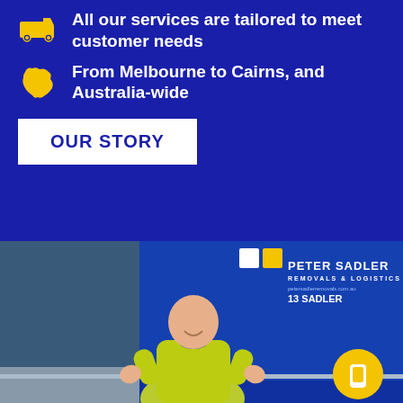All our services are tailored to meet customer needs
From Melbourne to Cairns, and Australia-wide
OUR STORY
[Figure (photo): A smiling man in a yellow high-visibility jacket giving thumbs up in front of a Peter Sadler Removals & Logistics blue truck]